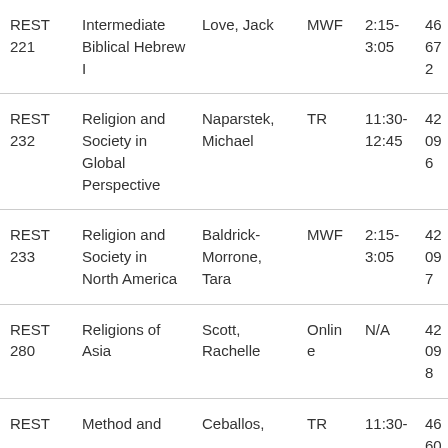| Course | Title | Instructor | Days | Time | Code |
| --- | --- | --- | --- | --- | --- |
| REST 221 | Intermediate Biblical Hebrew I | Love, Jack | MWF | 2:15-3:05 | 46672 |
| REST 232 | Religion and Society in Global Perspective | Naparstek, Michael | TR | 11:30-12:45 | 42096 |
| REST 233 | Religion and Society in North America | Baldrick-Morrone, Tara | MWF | 2:15-3:05 | 42097 |
| REST 280 | Religions of Asia | Scott, Rachelle | Online | N/A | 42098 |
| REST | Method and ... | Ceballos, ... | TR | 11:30- | 46603 |